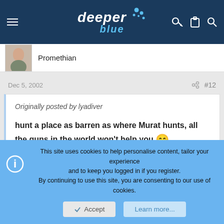deeper blue
Promethian
Dec 5, 2002  #12
Originally posted by lyadiver

hunt a place as barren as where Murat hunts, all the guns in the world won't help you. 😁
This site uses cookies to help personalise content, tailor your experience and to keep you logged in if you register.
By continuing to use this site, you are consenting to our use of cookies.